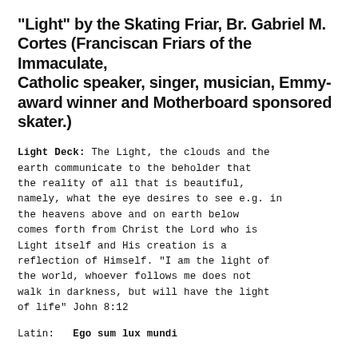"Light" by the Skating Friar, Br. Gabriel M. Cortes (Franciscan Friars of the Immaculate, Catholic speaker, singer, musician, Emmy-award winner and Motherboard sponsored skater.)
Light Deck: The Light, the clouds and the earth communicate to the beholder that the reality of all that is beautiful, namely, what the eye desires to see e.g. in the heavens above and on earth below comes forth from Christ the Lord who is Light itself and His creation is a reflection of Himself. "I am the light of the world, whoever follows me does not walk in darkness, but will have the light of life" John 8:12
Latin:   Ego sum lux mundi